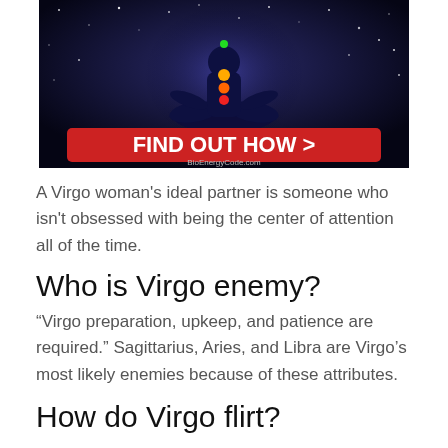[Figure (illustration): Advertisement banner with meditating chakra figure silhouette against starry cosmic background and a red 'FIND OUT HOW >' button, with BioEnergyCode.com text]
A Virgo woman's ideal partner is someone who isn't obsessed with being the center of attention all of the time.
Who is Virgo enemy?
“Virgo preparation, upkeep, and patience are required.” Sagittarius, Aries, and Libra are Virgo’s most likely enemies because of these attributes.
How do Virgo flirt?